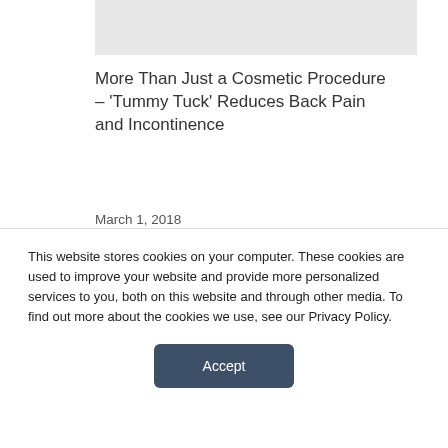[Figure (photo): Top image placeholder (gray rectangle, partially visible)]
More Than Just a Cosmetic Procedure – 'Tummy Tuck' Reduces Back Pain and Incontinence
March 1, 2018
[Figure (photo): Gray image placeholder with hamburger menu icon lines centered near bottom]
This website stores cookies on your computer. These cookies are used to improve your website and provide more personalized services to you, both on this website and through other media. To find out more about the cookies we use, see our Privacy Policy.
Accept